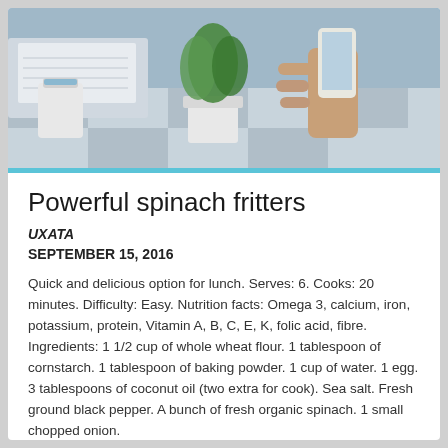[Figure (photo): Office desk scene with coffee cup, plant, hand holding phone, laptop in background]
Powerful spinach fritters
UXATA
SEPTEMBER 15, 2016
Quick and delicious option for lunch. Serves: 6. Cooks: 20 minutes. Difficulty: Easy. Nutrition facts: Omega 3, calcium, iron, potassium, protein, Vitamin A, B, C, E, K, folic acid, fibre. Ingredients: 1 1/2 cup of whole wheat flour. 1 tablespoon of cornstarch. 1 tablespoon of baking powder. 1 cup of water. 1 egg. 3 tablespoons of coconut oil (two extra for cook). Sea salt. Fresh ground black pepper. A bunch of fresh organic spinach. 1 small chopped onion.
⊕  2016  ↗ 100